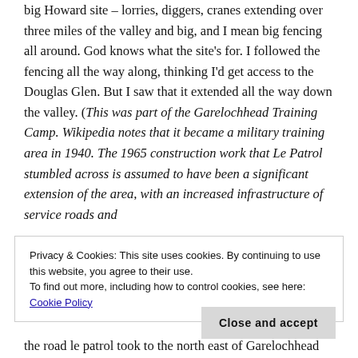big Howard site – lorries, diggers, cranes extending over three miles of the valley and big, and I mean big fencing all around. God knows what the site's for. I followed the fencing all the way along, thinking I'd get access to the Douglas Glen. But I saw that it extended all the way down the valley. (This was part of the Garelochhead Training Camp. Wikipedia notes that it became a military training area in 1940. The 1965 construction work that Le Patrol stumbled across is assumed to have been a significant extension of the area, with an increased infrastructure of service roads and
Privacy & Cookies: This site uses cookies. By continuing to use this website, you agree to their use. To find out more, including how to control cookies, see here: Cookie Policy
Close and accept
the road le patrol took to the north east of Garelochhead